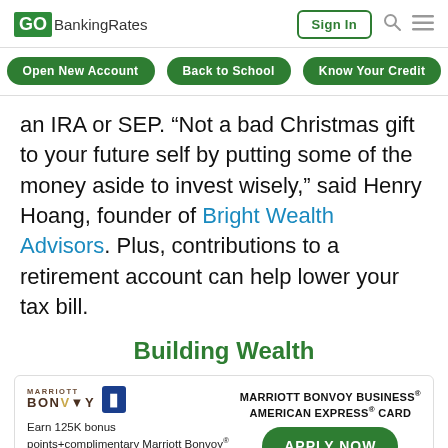GOBankingRates | Sign In
Open New Account | Back to School | Know Your Credit
an IRA or SEP. “Not a bad Christmas gift to your future self by putting some of the money aside to invest wisely,” said Henry Hoang, founder of Bright Wealth Advisors. Plus, contributions to a retirement account can help lower your tax bill.
Building Wealth
[Figure (other): Advertisement: Marriott Bonvoy Business American Express Card. Earn 125K bonus points+complimentary Marriott Bonvoy Gold Elite status. Terms Apply. Apply Now button.]